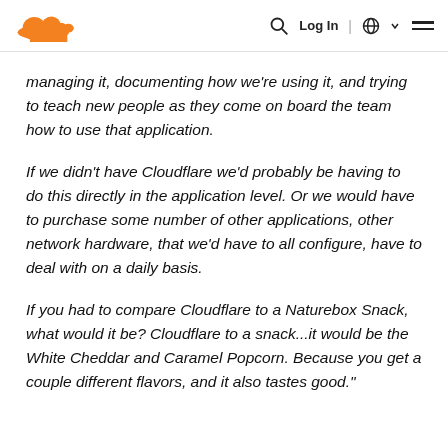Cloudflare logo | Search | Log In | Globe | Menu
managing it, documenting how we're using it, and trying to teach new people as they come on board the team how to use that application.
If we didn't have Cloudflare we'd probably be having to do this directly in the application level. Or we would have to purchase some number of other applications, other network hardware, that we'd have to all configure, have to deal with on a daily basis.
If you had to compare Cloudflare to a Naturebox Snack, what would it be? Cloudflare to a snack...it would be the White Cheddar and Caramel Popcorn. Because you get a couple different flavors, and it also tastes good."